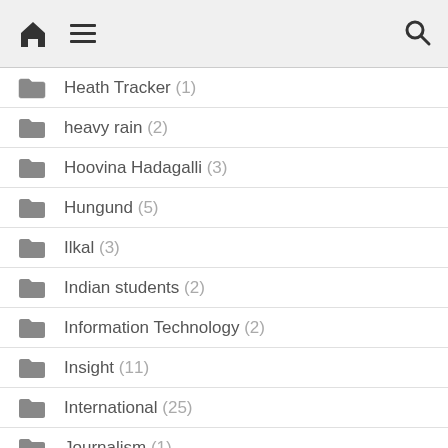Home Menu Search
Heath Tracker (1)
heavy rain (2)
Hoovina Hadagalli (3)
Hungund (5)
Ilkal (3)
Indian students (2)
Information Technology (2)
Insight (11)
International (25)
Journalism (1)
Karnataka (23)